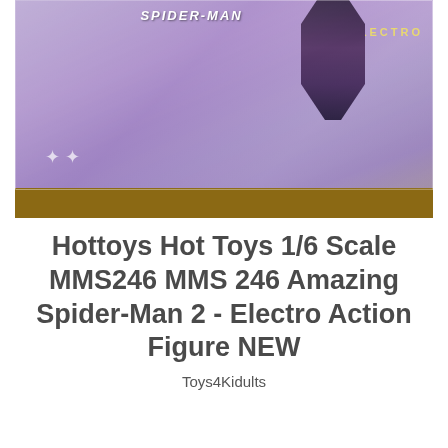[Figure (photo): A sealed action figure box for Hot Toys Amazing Spider-Man 2 Electro, photographed on a wooden surface. The box has purple/mauve coloring with Spider-Man and Electro branding visible, covered in plastic wrap. Two white star logos visible near the bottom left of the box.]
Hottoys Hot Toys 1/6 Scale MMS246 MMS 246 Amazing Spider-Man 2 - Electro Action Figure NEW
Toys4Kidults